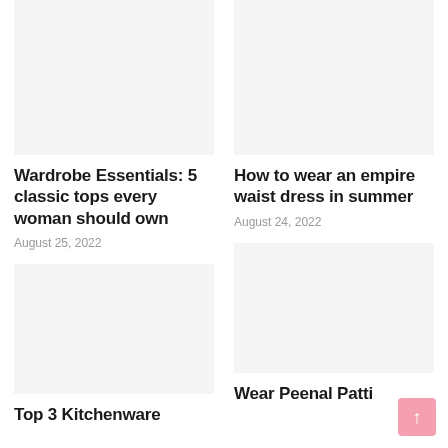[Figure (photo): Image placeholder for Wardrobe Essentials article (top left)]
Wardrobe Essentials: 5 classic tops every woman should own
August 25, 2022
[Figure (photo): Image placeholder for empire waist dress article (top right)]
How to wear an empire waist dress in summer
August 24, 2022
[Figure (photo): Image placeholder for Top 3 Kitchenware article (bottom left)]
Top 3 Kitchenware
[Figure (photo): Image placeholder for Wear Peenal Patti article (bottom right)]
Wear Peenal Patti